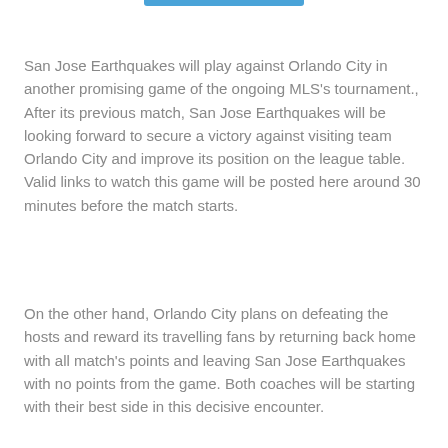San Jose Earthquakes will play against Orlando City in another promising game of the ongoing MLS's tournament., After its previous match, San Jose Earthquakes will be looking forward to secure a victory against visiting team Orlando City and improve its position on the league table. Valid links to watch this game will be posted here around 30 minutes before the match starts.
On the other hand, Orlando City plans on defeating the hosts and reward its travelling fans by returning back home with all match's points and leaving San Jose Earthquakes with no points from the game. Both coaches will be starting with their best side in this decisive encounter.